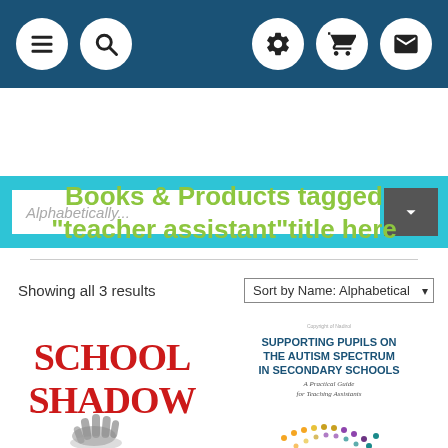[Figure (screenshot): Navigation bar with menu (hamburger), search (magnifying glass) icons on left; settings (gear), cart, email icons on right, all white circles on dark blue background]
[Figure (screenshot): Sort/filter bar with text input showing 'Alphabetically...' placeholder and a dark dropdown button with chevron, on cyan/teal background]
Books & Products tagged "teacher assistant"title here
Showing all 3 results
[Figure (screenshot): Sort by Name: Alphabetical dropdown selector]
[Figure (illustration): Book cover: SCHOOL SHADOW in large red serif text with a grey hand silhouette below on white background]
[Figure (illustration): Book cover: SUPPORTING PUPILS ON THE AUTISM SPECTRUM IN SECONDARY SCHOOLS - A Practical Guide for Teaching Assistants, with colorful dot arc pattern]